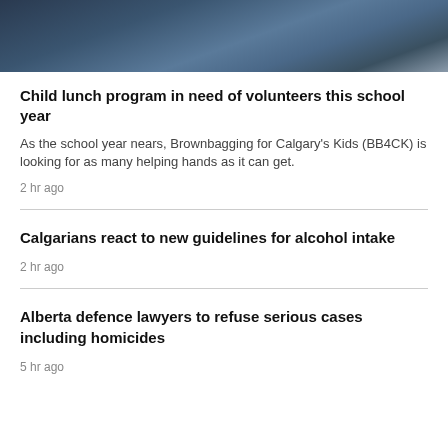[Figure (photo): Photo of people inside a vehicle, one person wearing a badge/lanyard]
Child lunch program in need of volunteers this school year
As the school year nears, Brownbagging for Calgary's Kids (BB4CK) is looking for as many helping hands as it can get.
2 hr ago
Calgarians react to new guidelines for alcohol intake
2 hr ago
Alberta defence lawyers to refuse serious cases including homicides
5 hr ago